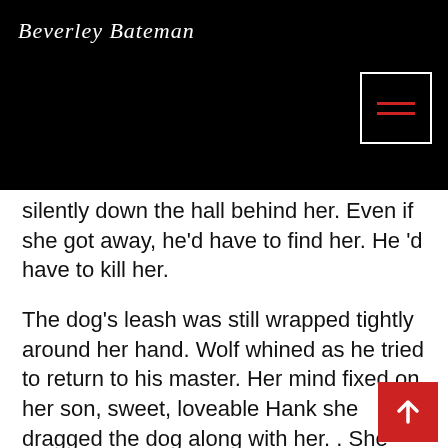Beverley Bateman
silently down the hall behind her. Even if she got away, he'd have to find her. He 'd have to kill her.
The dog's leash was still wrapped tightly around her hand. Wolf whined as he tried to return to his master. Her mind fixed on her son, sweet, loveable Hank she dragged the dog along with her. . She had to get to Hank. If the killer shot her, what would happen to her son?  No father, and then no mother. Even if she escaped the killer would hunt her down. He'd find out about Hank. He might try to get to her through her son.